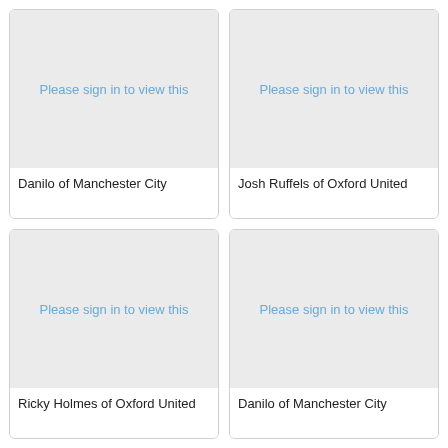[Figure (other): Placeholder image with text 'Please sign in to view this']
Danilo of Manchester City
[Figure (other): Placeholder image with text 'Please sign in to view this']
Josh Ruffels of Oxford United
[Figure (other): Placeholder image with text 'Please sign in to view this']
Ricky Holmes of Oxford United
[Figure (other): Placeholder image with text 'Please sign in to view this']
Danilo of Manchester City